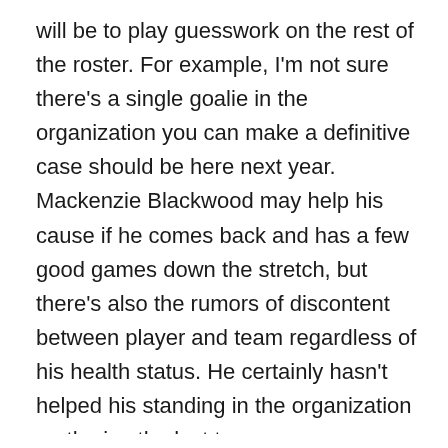will be to play guesswork on the rest of the roster. For example, I'm not sure there's a single goalie in the organization you can make a definitive case should be here next year. Mackenzie Blackwood may help his cause if he comes back and has a few good games down the stretch, but there's also the rumors of discontent between player and team regardless of his health status. He certainly hasn't helped his standing in the organization on the ice the last two seasons regardless of any off-ice drama. Jonathan Bernier's under contract for next year but can you really count on him at his age, after a major hip injury? Nico Daws has stabilized his game a little bit after short-circuiting for a while but you'd still rather have a 22-year old get another full season in the AHL than throwing him back into the fire, or giving him menial games as an NHL backup.